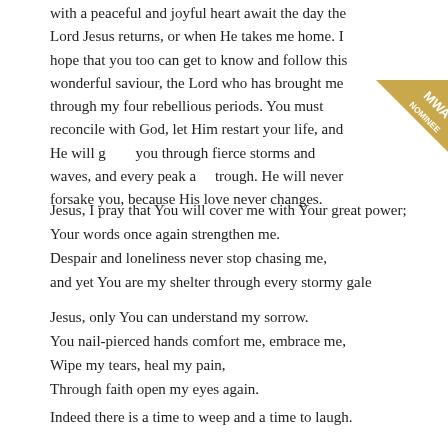with a peaceful and joyful heart await the day the Lord Jesus returns, or when He takes me home. I hope that you too can get to know and follow this wonderful saviour, the Lord who has brought me through my four rebellious periods. You must reconcile with God, let Him restart your life, and He will guide you through fierce storms and waves, and every peak and trough. He will never forsake you, because His love never changes.
[Figure (illustration): Gold/bronze diagonal badge ribbon in top-right corner with 'MWA' and 'NOMINEE' text]
Jesus, I pray that You will cover me with Your great power;
Your words once again strengthen me.
Despair and loneliness never stop chasing me,
and yet You are my shelter through every stormy gale
Jesus, only You can understand my sorrow.
You nail-pierced hands comfort me, embrace me,
Wipe my tears, heal my pain,
Through faith open my eyes again.
Indeed there is a time to weep and a time to laugh.